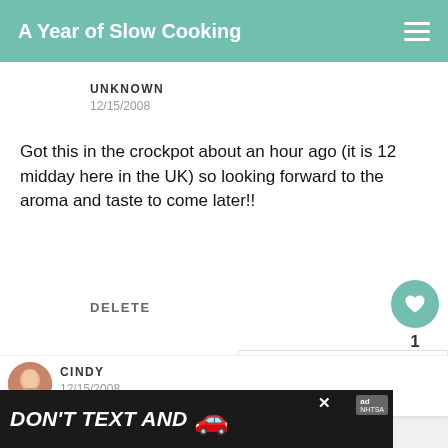A Year of Slow Cooking
UNKNOWN
12/15/2008
Got this in the crockpot about an hour ago (it is 12 midday here in the UK) so looking forward to the aroma and taste to come later!!
DELETE
[Figure (screenshot): Like button (heart icon, teal circle) with count 1 and share button below]
[Figure (infographic): What's Next panel with thumbnail of Whole Chicken and label 'WHAT'S NEXT →']
CINDY
12/15/2008
[Figure (screenshot): Ad banner: DON'T TEXT AND [car emoji] with NHTSA ad label and close button]